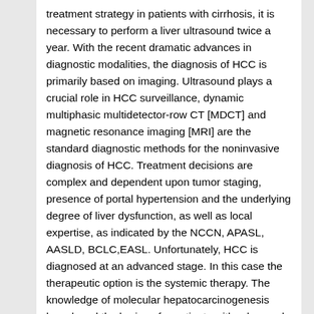treatment strategy in patients with cirrhosis, it is necessary to perform a liver ultrasound twice a year. With the recent dramatic advances in diagnostic modalities, the diagnosis of HCC is primarily based on imaging. Ultrasound plays a crucial role in HCC surveillance, dynamic multiphasic multidetector-row CT [MDCT] and magnetic resonance imaging [MRI] are the standard diagnostic methods for the noninvasive diagnosis of HCC. Treatment decisions are complex and dependent upon tumor staging, presence of portal hypertension and the underlying degree of liver dysfunction, as well as local expertise, as indicated by the NCCN, APASL, AASLD, BCLC,EASL. Unfortunately, HCC is diagnosed at an advanced stage. In this case the therapeutic option is the systemic therapy. The knowledge of molecular hepatocarcinogenesis broadened the horizon for patients with advanced HCC. During the last years several molecular targeted agents have been evaluated in clinical trials in advanced HCC. In the future new therapeutic options will be represented by a blend of